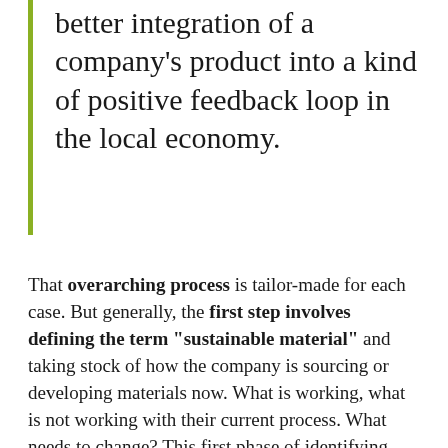better integration of a company's product into a kind of positive feedback loop in the local economy.
That overarching process is tailor-made for each case. But generally, the first step involves defining the term "sustainable material" and taking stock of how the company is sourcing or developing materials now. What is working, what is not working with their current process. What needs to change? This first phase of identifying challenge areas can be done through meetings, presentations, workshops. Workshops work especially well. The